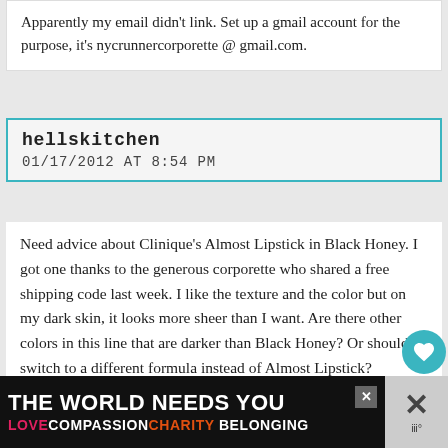Apparently my email didn't link. Set up a gmail account for the purpose, it's nycrunnercorporette @ gmail.com.
hellskitchen
01/17/2012 AT 8:54 PM
Need advice about Clinique's Almost Lipstick in Black Honey. I got one thanks to the generous corporette who shared a free shipping code last week. I like the texture and the color but on my dark skin, it looks more sheer than I want. Are there other colors in this line that are darker than Black Honey? Or should I switch to a different formula instead of Almost Lipstick?
▼ Collapse 4 replies
Formerly Preggo Angie
THE WORLD NEEDS YOU
LOVECOMPASSIONCHARITYBELONGING